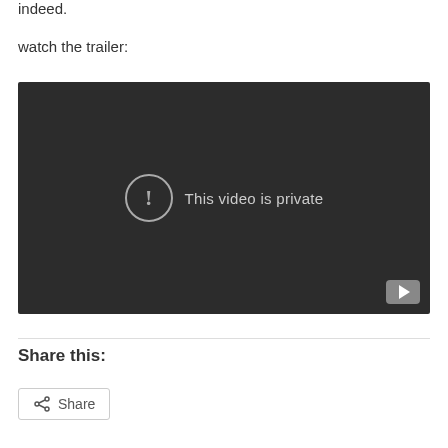indeed.
watch the trailer:
[Figure (screenshot): Embedded video player showing 'This video is private' error message with a circular exclamation icon and YouTube button in the bottom right corner. The background is dark gray/charcoal.]
Share this:
Share